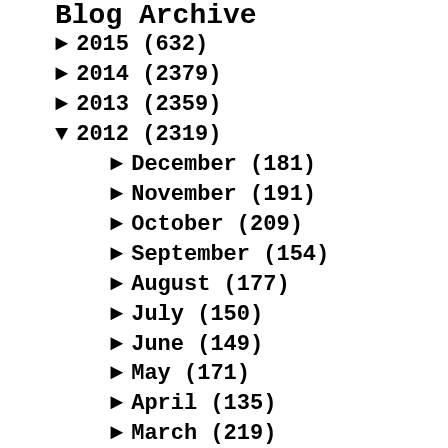Blog Archive
► 2015 (632)
► 2014 (2379)
► 2013 (2359)
▼ 2012 (2319)
► December (181)
► November (191)
► October (209)
► September (154)
► August (177)
► July (150)
► June (149)
► May (171)
► April (135)
► March (219)
► February (353)